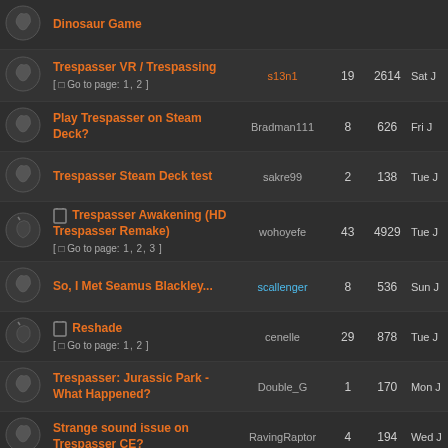|  | Topic | Last Post By | Replies | Views | Date |
| --- | --- | --- | --- | --- | --- |
| [icon] | Dinosaur Game |  |  |  |  |
| [icon] | Trespasser VR / Trespassing [ Go to page: 1, 2 ] | s13n1 | 19 | 2614 | Sat J |
| [icon] | Play Trespasser on Steam Deck? | Bradman111 | 8 | 626 | Fri J |
| [icon] | Trespasser Steam Deck test | sakre99 | 2 | 138 | Tue J |
| [icon] | Trespasser Awakening (HD Trespasser Remake) [ Go to page: 1, 2, 3 ] | wohoyefe | 43 | 4929 | Tue J |
| [icon] | So, I Met Seamus Blackley... | scallenger | 8 | 536 | Sun J |
| [icon] | Reshade [ Go to page: 1, 2 ] | cenelle | 29 | 878 | Tue J |
| [icon] | Trespasser: Jurassic Park - What Happened? | Double_G | 1 | 170 | Mon J |
| [icon] | Strange sound issue on Trespasser CE? | RavingRaptor | 4 | 194 | Wed J |
| [icon] | The Trespasser Frontier (A Tres Blog) [ Go to page: 1, 2, 3, 4, 5 ] | Draconisaurus | 71 | 3711 | Wed J |
| [icon] | Signs in Trespasser |  | 15 | 4666 | Fri A |